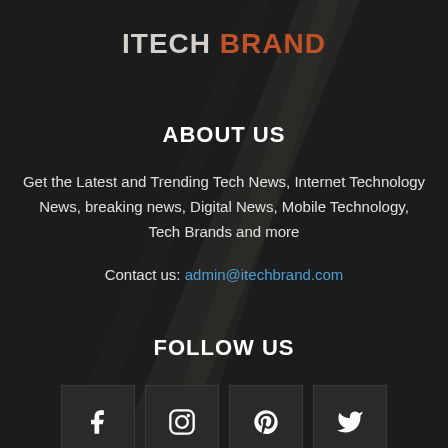ITECH BRAND
ABOUT US
Get the Latest and Trending Tech News, Internet Technology News, breaking news, Digital News, Mobile Technology, Tech Brands and more
Contact us: admin@itechbrand.com
FOLLOW US
[Figure (infographic): Four social media icon buttons: Facebook, Instagram, Pinterest, Twitter]